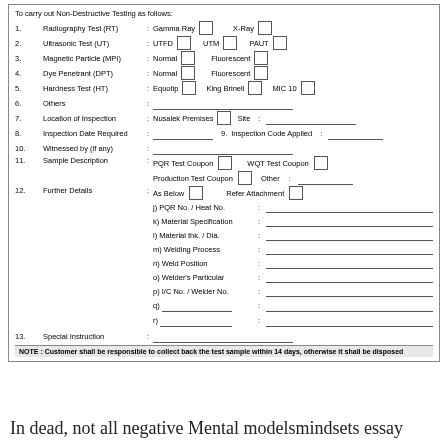To carry out Non-Destructive Testing as follows:
1. Radiography Test (RT) : Gamma Ray [ ] X-Ray [ ]
2. Ultrasonic Test (UT) : UTFD [ ] UTM [ ] PAUT [ ]
3. Magnetic Particle (MPI) : Normal [ ] Fluorescent [ ]
4. Dye Penetrant (DPT) : Normal [ ] Fluorescent [ ]
5. Hardness Test (HT) : Equotip [ ] King Brinell [ ] MIC 10 [ ]
6. Others :
7. Location of Inspection : Nusalek Premises [ ] Site :
8. Inspection Date Required : ___ 9. Inspection Code Applied :
10. Witnessed by (if any) :
11. Sample Description : PQR Test Coupon [ ] WQT Test Coupon [ ] : Production Test Coupon [ ] Other :
12. Further Details : As Below [ ] Refer Attachment [ ] j) PQR No. / Heat No. : k) Material Specification : l) Material thk. / Dia. : m) Welding Process : n) Weld Position : o) Welder's Particular : p) I/C No. / Welder No. : q) : r) :
13. Special Instruction :
NOTE : Customer shall be responsible to collect back the test sample within 14 days, otherwise it shall be disposed
In dead, not all negative Mental modelsmindsets essay